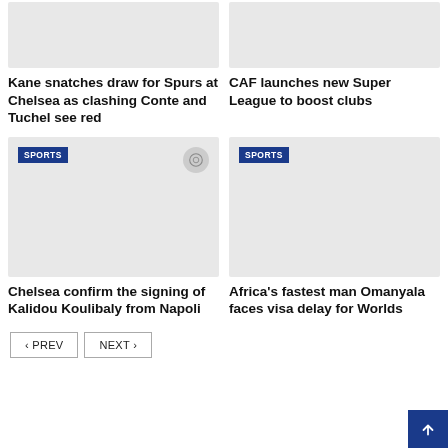[Figure (photo): Placeholder image top left (news article image, gray)]
[Figure (photo): Placeholder image top right (news article image, gray)]
Kane snatches draw for Spurs at Chelsea as clashing Conte and Tuchel see red
CAF launches new Super League to boost clubs
[Figure (photo): Placeholder image bottom left with SPORTS badge and camera icon (news article image, gray)]
[Figure (photo): Placeholder image bottom right with SPORTS badge (news article image, gray)]
Chelsea confirm the signing of Kalidou Koulibaly from Napoli
Africa's fastest man Omanyala faces visa delay for Worlds
< PREV
NEXT >